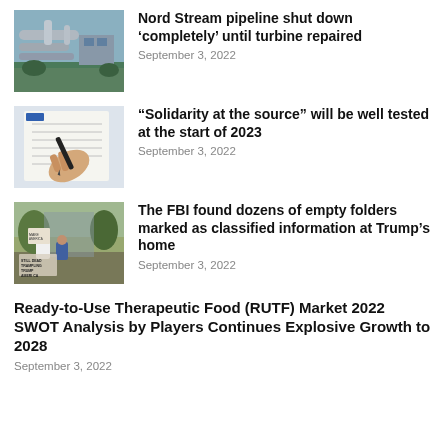[Figure (photo): Industrial gas pipeline facility with large pipes and compressor equipment outdoors]
Nord Stream pipeline shut down ‘completely’ until turbine repaired
September 3, 2022
[Figure (photo): A hand holding a pen writing or signing a document or form]
“Solidarity at the source” will be well tested at the start of 2023
September 3, 2022
[Figure (photo): People holding protest signs outdoors, one sign reads Make America Trump Again America]
The FBI found dozens of empty folders marked as classified information at Trump’s home
September 3, 2022
Ready-to-Use Therapeutic Food (RUTF) Market 2022 SWOT Analysis by Players Continues Explosive Growth to 2028
September 3, 2022